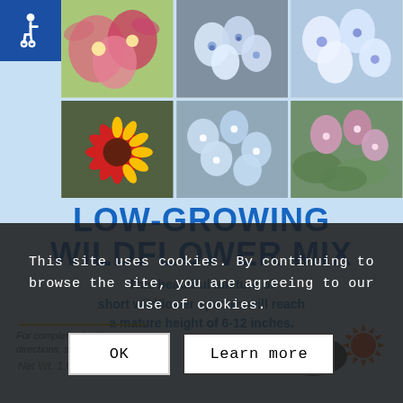[Figure (photo): Grid of 5 wildflower photos: top row shows pink/red Cosmos flowers and white Phacelia bells; bottom row shows red/yellow Gaillardia daisy, light blue Nemophila flowers, and pink Claytonia flowers on green leaves]
LOW-GROWING WILDFLOWER MIX
This beautiful mixture of short wildflower species will reach a mature height of 6-12 inches.
For complete planting directions, see reverse side.
This site uses cookies. By continuing to browse the site, you are agreeing to our use of cookies.